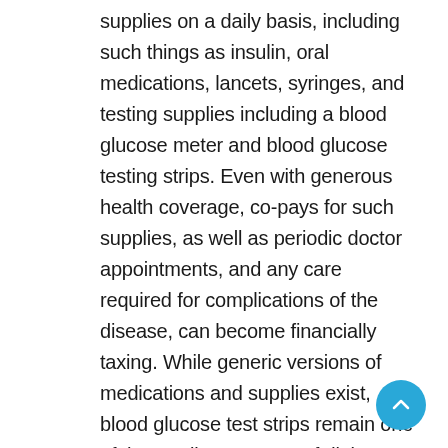supplies on a daily basis, including such things as insulin, oral medications, lancets, syringes, and testing supplies including a blood glucose meter and blood glucose testing strips. Even with generous health coverage, co-pays for such supplies, as well as periodic doctor appointments, and any care required for complications of the disease, can become financially taxing. While generic versions of medications and supplies exist, blood glucose test strips remain one of the costliest aspects of diabetes care. In fact, blood glucose test strips can cost up to $.80 - $1.00 apiece.³ People with diabetes use one test strip every time they check their blood glucose levels, which can occur upwards of 6 times per day or more. For a person with diabetes requiring multiple daily blood glucose checks, this cost, even with adequate health coverage, can become overwhelming.